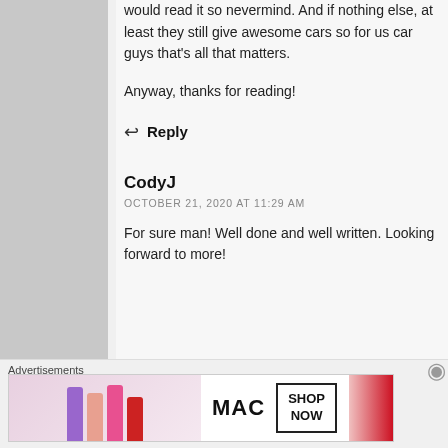would read it so nevermind. And if nothing else, at least they still give awesome cars so for us car guys that's all that matters.

Anyway, thanks for reading!
Reply
CodyJ
OCTOBER 21, 2020 AT 11:29 AM
For sure man! Well done and well written. Looking forward to more!
Advertisements
[Figure (photo): MAC Cosmetics advertisement banner showing lipsticks in purple, peach, pink, and red colors alongside the MAC logo and a SHOP NOW button]